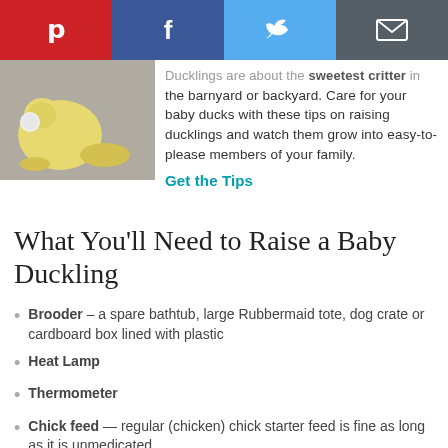[Figure (other): Social media sharing bar with Pinterest, Facebook, Twitter, and Email buttons]
[Figure (photo): A baby duckling next to an egg on a light background]
Ducklings are about the sweetest critter in the barnyard or backyard. Care for your baby ducks with these tips on raising ducklings and watch them grow into easy-to-please members of your family.
Get the Tips
What You’ll Need to Raise a Baby Duckling
Brooder – a spare bathtub, large Rubbermaid tote, dog crate or cardboard box lined with plastic
Heat Lamp
Thermometer
Chick feed — regular (chicken) chick starter feed is fine as long as it is unmedicated
Brewer’s yeast